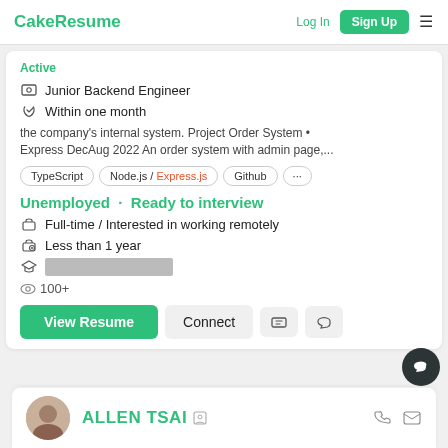CakeResume  Log In  Sign Up
Active
Junior Backend Engineer
Within one month
the company's internal system. Project Order System • Express DecAug 2022 An order system with admin page,...
TypeScript  Node.js / Express.js  Github  ...
Unemployed · Ready to interview
Full-time / Interested in working remotely
Less than 1 year
[REDACTED]
100+
View Resume  Connect
ALLEN TSAI